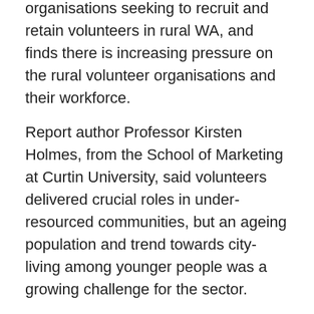organisations seeking to recruit and retain volunteers in rural WA, and finds there is increasing pressure on the rural volunteer organisations and their workforce.
Report author Professor Kirsten Holmes, from the School of Marketing at Curtin University, said volunteers delivered crucial roles in under-resourced communities, but an ageing population and trend towards city-living among younger people was a growing challenge for the sector.
“Our findings show there is a very high level of volunteering participation in rural WA communities, with more than 50 per cent of residents volunteering in some form, with sport and emergency services the most popular activities,” Professor Holmes said.
“Volunteers are generally happier with their sense of community, and develop stronger social networks and ties in the local region.
“However, 40 per cent of the volunteering organisations